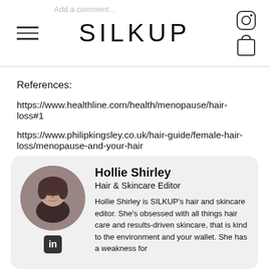SILKUP
References:
https://www.healthline.com/health/menopause/hair-loss#1
https://www.philipkingsley.co.uk/hair-guide/female-hair-loss/menopause-and-your-hair
Hollie Shirley
Hair & Skincare Editor

Hollie Shirley is SILKUP's hair and skincare editor. She's obsessed with all things hair care and results-driven skincare, that is kind to the environment and your wallet. She has a weakness for